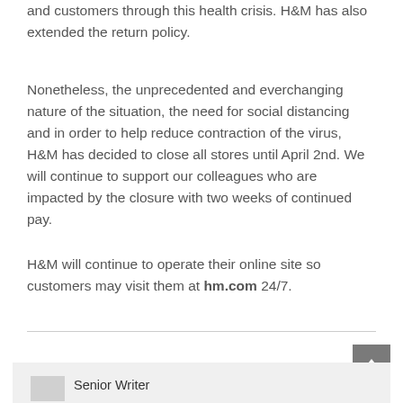and customers through this health crisis. H&M has also extended the return policy.
Nonetheless, the unprecedented and everchanging nature of the situation, the need for social distancing and in order to help reduce contraction of the virus, H&M has decided to close all stores until April 2nd. We will continue to support our colleagues who are impacted by the closure with two weeks of continued pay.
H&M will continue to operate their online site so customers may visit them at hm.com 24/7.
Senior Writer